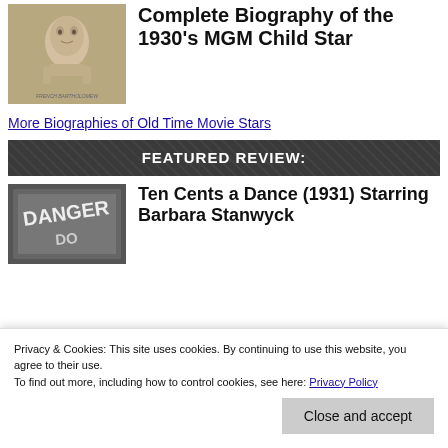[Figure (photo): Vintage sepia-toned photo of a young child star from the 1930s MGM era, leaning chin on hands, smiling]
Complete Biography of the 1930’s MGM Child Star
More Biographies of Old Time Movie Stars
FEATURED REVIEW:
[Figure (photo): Black and white still from Ten Cents a Dance (1931) showing a DANGER sign]
Ten Cents a Dance (1931) Starring Barbara Stanwyck
Privacy & Cookies: This site uses cookies. By continuing to use this website, you agree to their use. To find out more, including how to control cookies, see here: Privacy Policy
Close and accept